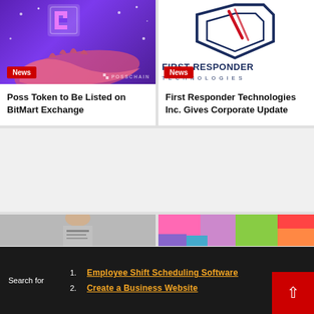[Figure (logo): PossChain purple background with hand graphic and logo]
Poss Token to Be Listed on BitMart Exchange
[Figure (logo): First Responder Technologies Inc. logo — navy and red shield/book icon with text]
First Responder Technologies Inc. Gives Corporate Update
[Figure (photo): Person holding a newspaper, partially visible]
[Figure (infographic): Colorful map/chart with pink, purple, green, red regions]
Employee Shift Scheduling Software
Create a Business Website